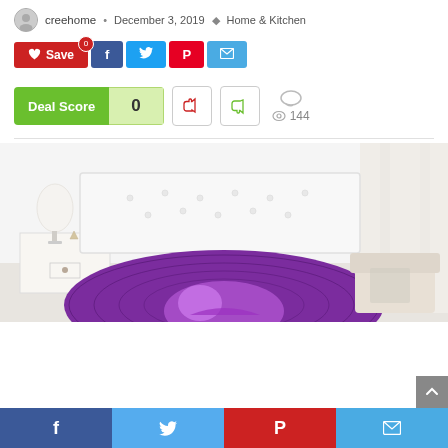creehome • December 3, 2019 • Home & Kitchen
[Figure (screenshot): Social share buttons row: red Save button with heart icon, blue Facebook button, light blue Twitter button, red Pinterest button, blue Email button]
[Figure (infographic): Deal Score widget showing score of 0, thumbs down and thumbs up vote buttons, comment bubble icon, eye icon with view count 144]
[Figure (photo): Bedroom scene with white bed featuring a purple decorative blanket/throw with graphic design, white nightstand with lamp and small plant, sheer white curtains]
[Figure (screenshot): Bottom social share bar with Facebook (blue), Twitter (light blue), Pinterest (red), and Email (light blue) buttons]